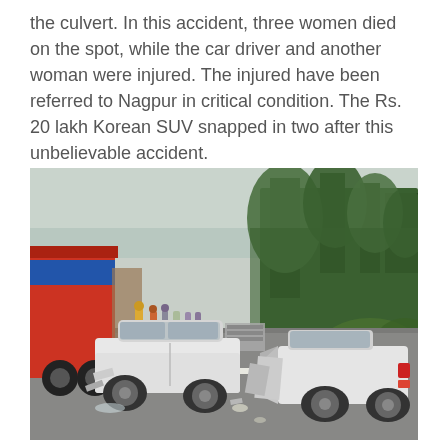the culvert. In this accident, three women died on the spot, while the car driver and another woman were injured. The injured have been referred to Nagpur in critical condition. The Rs. 20 lakh Korean SUV snapped in two after this unbelievable accident.
[Figure (photo): A white SUV split into two halves on a road after a severe accident near a culvert. The front half of the car sits on the road while the rear half is separated and lies to the right. A large truck is visible on the left, and trees line the right side. Bystanders are visible in the background.]